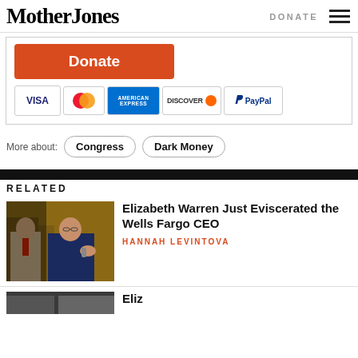Mother Jones  DONATE
[Figure (screenshot): Donate button (orange/red) with payment icons: VISA, MasterCard, American Express, Discover, PayPal]
More about:  Congress  Dark Money
RELATED
[Figure (photo): Elizabeth Warren speaking at a Senate hearing, gesturing with her hand]
Elizabeth Warren Just Eviscerated the Wells Fargo CEO
HANNAH LEVINTOVA